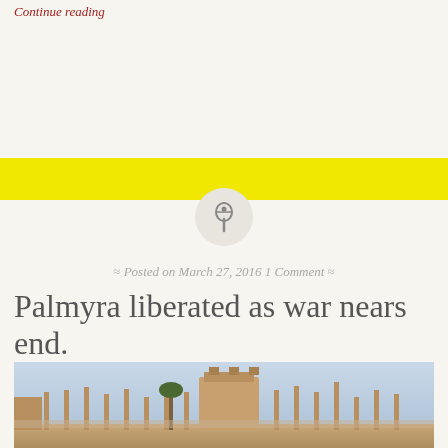Continue reading
[Figure (other): Yellow horizontal banner/divider bar]
[Figure (other): Gray circular pin/thumbtack icon]
Posted on March 27, 2016 1 Comment
Palmyra liberated as war nears end.
[Figure (photo): Photograph of Palmyra ruins showing ancient columns and structures against a clear sky]